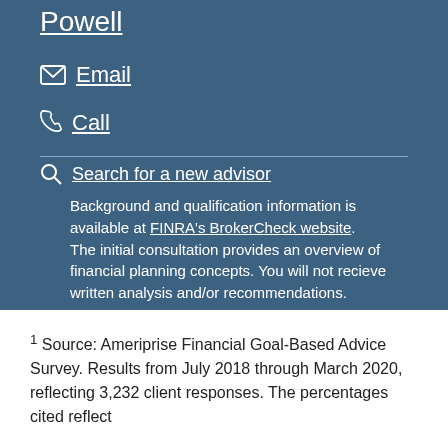Powell
Email
Call
Search for a new advisor
Background and qualification information is available at FINRA's BrokerCheck website. The initial consultation provides an overview of financial planning concepts. You will not recieve written analysis and/or recommendations.
1 Source: Ameriprise Financial Goal-Based Advice Survey. Results from July 2018 through March 2020, reflecting 3,232 client responses. The percentages cited reflect